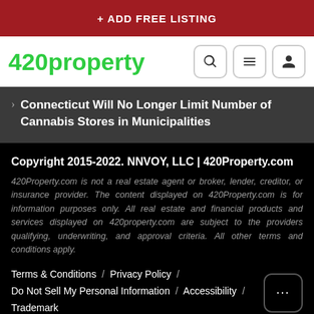+ ADD FREE LISTING
[Figure (logo): 420property logo with green bold text and navigation icons (search, menu, user)]
Connecticut Will No Longer Limit Number of Cannabis Stores in Municipalities
Copyright 2015-2022. NNVOY, LLC | 420Property.com
420Property.com is not a real estate agent or broker, lender, creditor, or insurance provider. The content displayed on 420Property.com is for information purposes only. All real estate and financial products and services displayed on 420property.com are subject to the providers qualifying, underwriting, and approval criteria. All other terms and conditions apply.
Terms & Conditions / Privacy Policy / Do Not Sell My Personal Information / Accessibility / Trademark